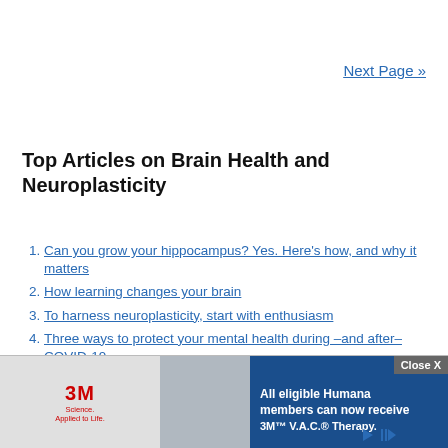Next Page »
Top Articles on Brain Health and Neuroplasticity
1. Can you grow your hippocampus? Yes. Here's how, and why it matters
2. How learning changes your brain
3. To harness neuroplasticity, start with enthusiasm
4. Three ways to protect your mental health during –and after– COVID-19
5. Why you turn down the radio when you're lost
6. Solving the Brain Fitness Puzzle Is the Key to Er…
7. Te…
[Figure (other): Advertisement overlay: 3M Science. Applied to Life. with healthcare worker photo, and Humana insurance ad reading 'All eligible Humana members can now receive 3M™ V.A.C.® Therapy.' with Close X button.]